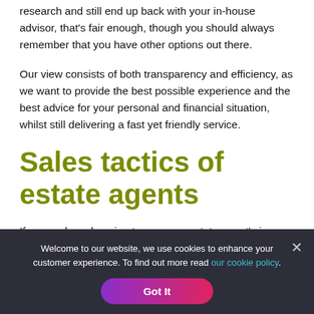research and still end up back with your in-house advisor, that's fair enough, though you should always remember that you have other options out there.
Our view consists of both transparency and efficiency, as we want to provide the best possible experience and the best advice for your personal and financial situation, whilst still delivering a fast yet friendly service.
Sales tactics of estate agents
If you end up choosing to use your estate agent's in-house mortgage advisor and conveyancer, you need to think about
Welcome to our website, we use cookies to enhance your customer experience. To find out more read our cookie policy.